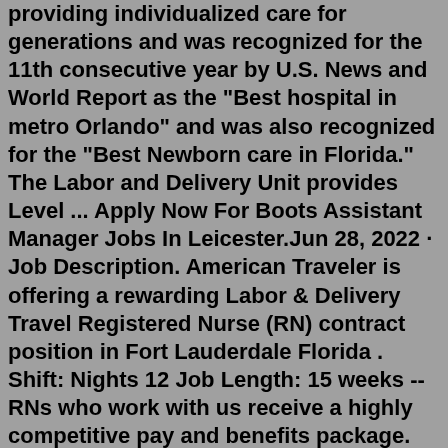providing individualized care for generations and was recognized for the 11th consecutive year by U.S. News and World Report as the "Best hospital in metro Orlando" and was also recognized for the "Best Newborn care in Florida." The Labor and Delivery Unit provides Level ... Apply Now For Boots Assistant Manager Jobs In Leicester.Jun 28, 2022 · Job Description. American Traveler is offering a rewarding Labor & Delivery Travel Registered Nurse (RN) contract position in Fort Lauderdale Florida . Shift: Nights 12 Job Length: 15 weeks -- RNs who work with us receive a highly competitive pay and benefits package. You'll enjoy the personalized client service that has earned up high ratings ... Registered Nurse (RN) Labor and Delivery Nurse jobs in Florida. 51 jobs using the terms 'rn or i or ob/gyn or ft or days or henderson or hospital' to view and apply for now with AWHONN Career Center | by Relevance Labor Laws (General Labor Regulations in Florida) Florida Labor Laws. Many public organizations as well as Florida companies have job announcements or